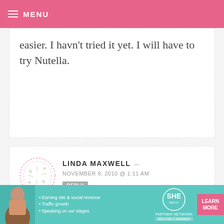MENU
easier. I havn't tried it yet. I will have to try Nutella.
LINDA MAXWELL — NOVEMBER 8, 2010 @ 1:11 AM REPLY
We make our S'mores with the Chocolate Covered Graham Crackers. Easy and delicious.
AMY L NOVEMBER 8, 2010 @ 1:11 AM REPLY
[Figure (infographic): SHE Partner Network advertisement banner with woman photo, bullet points about earning site & social revenue, traffic growth, speaking on stages, SHE logo, and LEARN MORE button]